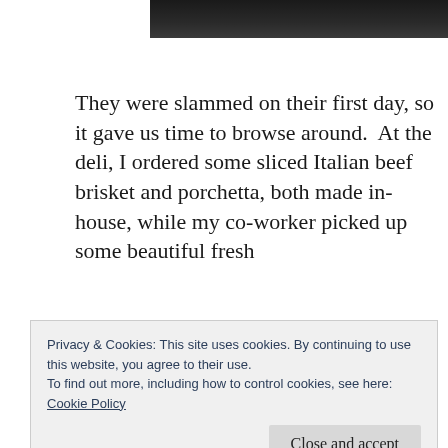[Figure (photo): Top portion of a food or deli photograph, mostly dark/black background visible at the top edge of the page]
They were slammed on their first day, so it gave us time to browse around.  At the deli, I ordered some sliced Italian beef brisket and porchetta, both made in-house, while my co-worker picked up some beautiful fresh
Privacy & Cookies: This site uses cookies. By continuing to use this website, you agree to their use.
To find out more, including how to control cookies, see here:
Cookie Policy
Close and accept
multicolored roasted peppers, stuffed cherry